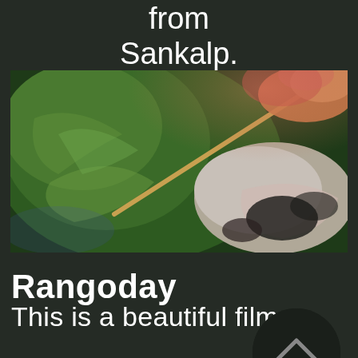from Sankalp.
[Figure (photo): Close-up photo of a painting being created with a brush, showing green paint strokes and a hand holding a paintbrush on a painted canvas with various colors including green, white, black, and earth tones.]
Rangoday
This is a beautiful film